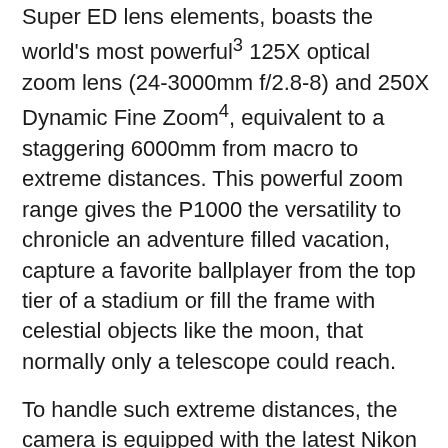Super ED lens elements, boasts the world's most powerful³ 125X optical zoom lens (24-3000mm f/2.8-8) and 250X Dynamic Fine Zoom⁴, equivalent to a staggering 6000mm from macro to extreme distances. This powerful zoom range gives the P1000 the versatility to chronicle an adventure filled vacation, capture a favorite ballplayer from the top tier of a stadium or fill the frame with celestial objects like the moon, that normally only a telescope could reach.
To handle such extreme distances, the camera is equipped with the latest Nikon EXPEED image processing system and Dual Detect Optical VR technology for 5-stops⁵ of camera shake compensation that help capture sharp images and reduce blur. Featuring a 16-megapixel back-side illuminated (BSI) CMOS sensor and expanded ISO range up to 6400, the P1000